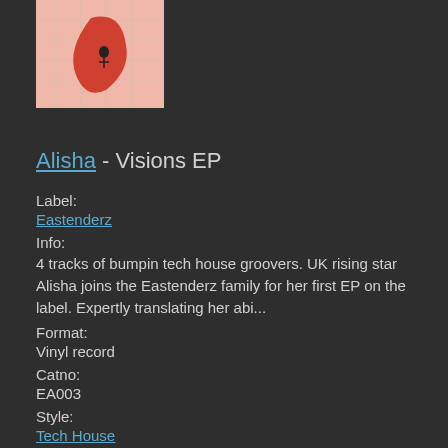[Figure (illustration): Album cover art for Visions EP by Alisha — pink/salmon background with a grid pattern and a red abstract shape resembling a leaf or guitar pick with a small dark figure on it]
Alisha - Visions EP
Label:
Eastenderz
Info:
4 tracks of bumpin tech house groovers. UK rising star Alisha joins the Eastenderz family for her first EP on the label. Expertly translating her abi...
Format:
Vinyl record
Catno:
EA003
Style:
Tech House
Vinyl record condition:
Media:
New